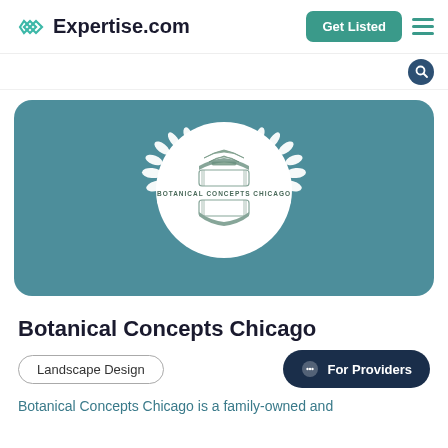Expertise.com
[Figure (logo): Botanical Concepts Chicago logo — ornate crest with laurel wreath on teal background, text reads BOTANICAL CONCEPTS CHICAGO]
Botanical Concepts Chicago
Landscape Design
For Providers
Botanical Concepts Chicago is a family-owned and